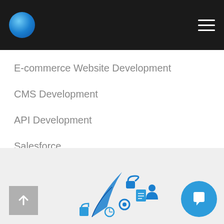[Figure (logo): Blue globe/sphere logo icon in navigation bar]
E-commerce Website Development
CMS Development
API Development
Salesforce
Sharepoint Development
Desktop Application Development
[Figure (illustration): Technology/web development illustration with icons including feather, lock, document, gears, and other digital icons arranged in a semi-circle]